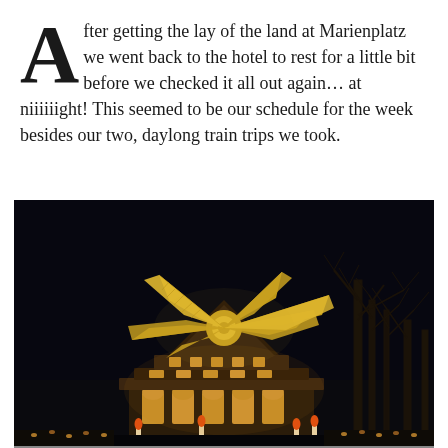After getting the lay of the land at Marienplatz we went back to the hotel to rest for a little bit before we checked it all out again… at niiiiiight! This seemed to be our schedule for the week besides our two, daylong train trips we took.
[Figure (photo): Night-time photo of a large illuminated Christmas pyramid (Weihnachtspyramide) with golden windmill-like blades at the top, lit candles, and decorated arches, set against a dark night sky with bare trees visible on the right side.]